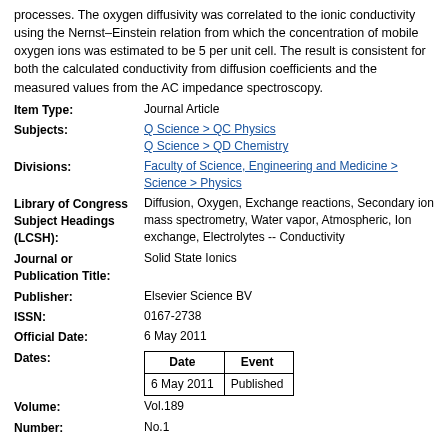processes. The oxygen diffusivity was correlated to the ionic conductivity using the Nernst–Einstein relation from which the concentration of mobile oxygen ions was estimated to be 5 per unit cell. The result is consistent for both the calculated conductivity from diffusion coefficients and the measured values from the AC impedance spectroscopy.
| Label | Value |
| --- | --- |
| Item Type: | Journal Article |
| Subjects: | Q Science > QC Physics
Q Science > QD Chemistry |
| Divisions: | Faculty of Science, Engineering and Medicine > Science > Physics |
| Library of Congress Subject Headings (LCSH): | Diffusion, Oxygen, Exchange reactions, Secondary ion mass spectrometry, Water vapor, Atmospheric, Ion exchange, Electrolytes -- Conductivity |
| Journal or Publication Title: | Solid State Ionics |
| Publisher: | Elsevier Science BV |
| ISSN: | 0167-2738 |
| Official Date: | 6 May 2011 |
| Dates: | Date: 6 May 2011, Event: Published |
| Volume: | Vol.189 |
| Number: | No.1 |